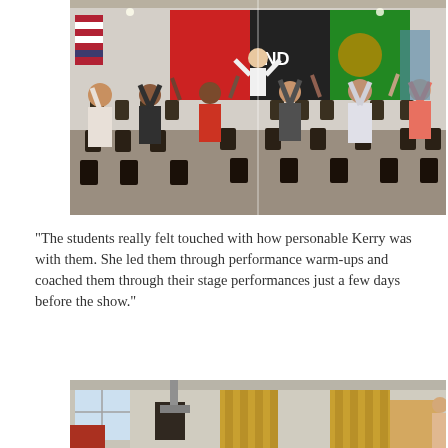[Figure (photo): Students in an auditorium/gymnasium with hands raised, participating in a performance workshop. A performer in a white outfit stands on stage at the front. Pan-African flag colors (red, black, green) visible on banners in the background. An American flag is on the left side.]
“The students really felt touched with how personable Kerry was with them. She led them through performance warm-ups and coached them through their stage performances just a few days before the show.”
[Figure (photo): Interior room with yellow/gold curtains on a stage or window area. Partially visible — appears to be a performance or classroom space.]